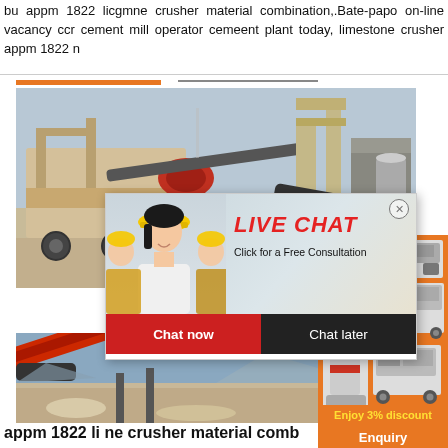bu appm 1822 licgmne crusher material combination,.Bate-papo on-line vacancy ccr cement mill operator cemeent plant today, limestone crusher appm 1822 n
[Figure (photo): Photograph of a mobile crusher / screening plant machine on a construction/quarry site, viewed from ground level. Large industrial equipment on wheels with conveyor belts and metal framework.]
[Figure (screenshot): Live chat popup overlay showing workers in yellow hard hats. Text reads LIVE CHAT, Click for a Free Consultation, Chat now button (red), Chat later button (black).]
[Figure (photo): Orange sidebar advertisement showing industrial crushing machines and text: Enjoy 3% discount, Click to Chat, Enquiry.]
[Figure (photo): Bottom photograph of a quarry/mining conveyor or crusher machine close up, with red/orange machinery parts and rocky terrain in background.]
appm 1822 li ne crusher material comb